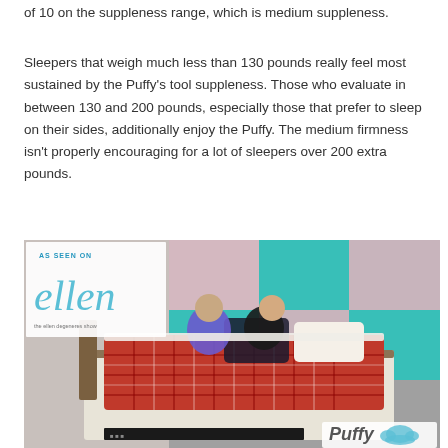of 10 on the suppleness range, which is medium suppleness.
Sleepers that weigh much less than 130 pounds really feel most sustained by the Puffy’s tool suppleness. Those who evaluate in between 130 and 200 pounds, especially those that prefer to sleep on their sides, additionally enjoy the Puffy. The medium firmness isn’t properly encouraging for a lot of sleepers over 200 extra pounds.
[Figure (photo): Photo of two people lying in a Puffy mattress on what appears to be The Ellen DeGeneres Show set, with teal and pink panel backdrop. An overlay in the upper left reads 'AS SEEN ON' above the 'ellen' logo with 'the ellen degeneres show' below. A Puffy logo appears in the lower right corner.]